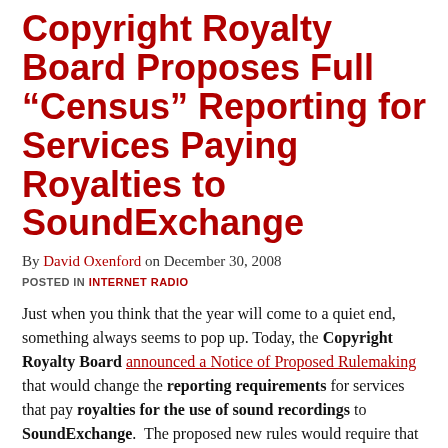Copyright Royalty Board Proposes Full “Census” Reporting for Services Paying Royalties to SoundExchange
By David Oxenford on December 30, 2008
POSTED IN INTERNET RADIO
Just when you think that the year will come to a quiet end, something always seems to pop up. Today, the Copyright Royalty Board announced a Notice of Proposed Rulemaking that would change the reporting requirements for services that pay royalties for the use of sound recordings to SoundExchange. The proposed new rules would require that Reports of Use submitted by services